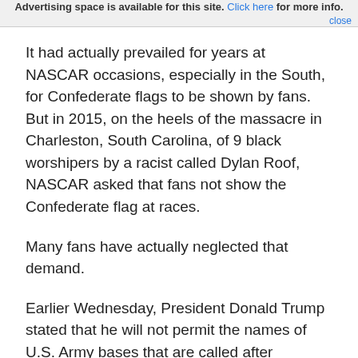Advertising space is available for this site. Click here for more info. close
It had actually prevailed for years at NASCAR occasions, especially in the South, for Confederate flags to be shown by fans. But in 2015, on the heels of the massacre in Charleston, South Carolina, of 9 black worshipers by a racist called Dylan Roof, NASCAR asked that fans not show the Confederate flag at races.
Many fans have actually neglected that demand.
Earlier Wednesday, President Donald Trump stated that he will not permit the names of U.S. Army bases that are called after generals who defended slave-holding states of the Confederacy in the Civil War to be altered.